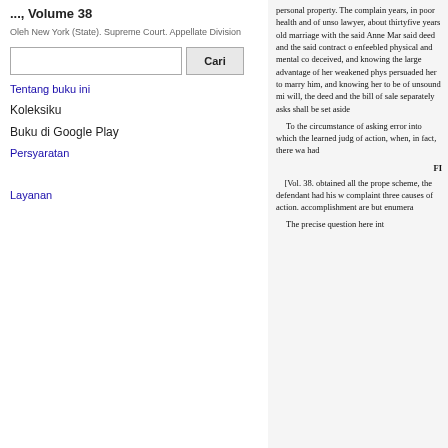..., Volume 38
Oleh New York (State). Supreme Court. Appellate Division
Tentang buku ini
Koleksiku
Buku di Google Play
Persyaratan  Layanan
personal property. The complain... years, in poor health and of unso... lawyer, about thirtyfive years old... marriage with the said Anne Mar... said deed and the said contract o... enfeebled physical and mental co... deceived, and knowing the large... advantage of her weakened phys... persuaded her to marry him, and... knowing her to be of unsound mi... will, the deed and the bill of sale... separately asks shall be set aside...
To the circumstance of asking... error into which the learned judg... of action, when, in fact, there wa... had
FI...
[Vol. 38. obtained all the prope... scheme, the defendant had his w... complaint three causes of action.... accomplishment are but enumera...
The precise question here int...